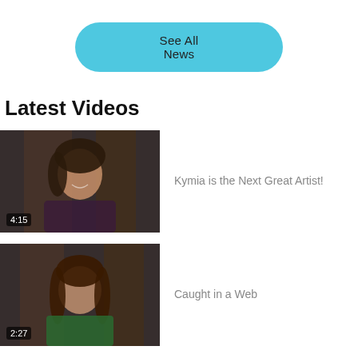See All News
Latest Videos
[Figure (photo): Video thumbnail showing a woman smiling, dark textured background, duration overlay 4:15]
Kymia is the Next Great Artist!
[Figure (photo): Video thumbnail showing a woman with long brown hair, green top, dark textured background, duration overlay 2:27]
Caught in a Web